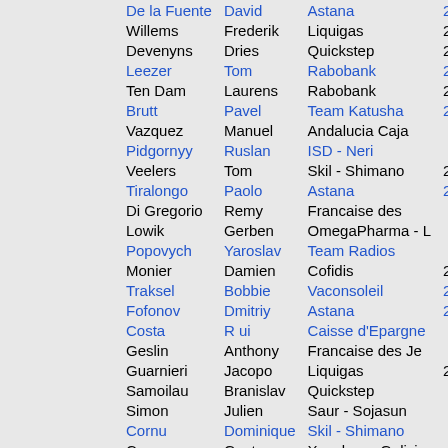| Last Name | First Name | Team | Points |
| --- | --- | --- | --- |
| De la Fuente | David | Astana | 28... |
| Willems | Frederik | Liquigas | 28... |
| Devenyns | Dries | Quickstep | 28... |
| Leezer | Tom | Rabobank | 280,0... |
| Ten Dam | Laurens | Rabobank | 280,000 |
| Brutt | Pavel | Team Katusha | 28... |
| Vazquez | Manuel | Andalucia Caja |  |
| Pidgornyy | Ruslan | ISD - Neri | ... |
| Veelers | Tom | Skil - Shimano | 2... |
| Tiralongo | Paolo | Astana | 270,0... |
| Di Gregorio | Remy | Francaise des... |  |
| Lowik | Gerben | OmegaPharma -... |  |
| Popovych | Yaroslav | Team Radios... |  |
| Monier | Damien | Cofidis | 270,0... |
| Traksel | Bobbie | Vaconsoleil | 27... |
| Fofonov | Dmitriy | Astana | 260,0... |
| Costa | R ui | Caisse d'Epargne |  |
| Geslin | Anthony | Francaise des Je... |  |
| Guarnieri | Jacopo | Liquigas | 26... |
| Samoilau | Branislav | Quickstep |  |
| Simon | Julien | Saur - Sojasun |  |
| Cornu | Dominique | Skil - Shimano... |  |
| Cesar | Gustavo | Xacobeo - Galici... |  |
| Muto | Pasquale | Other teams | ... |
| Goddaert | Kristof | AG2r La Mondia... |  |